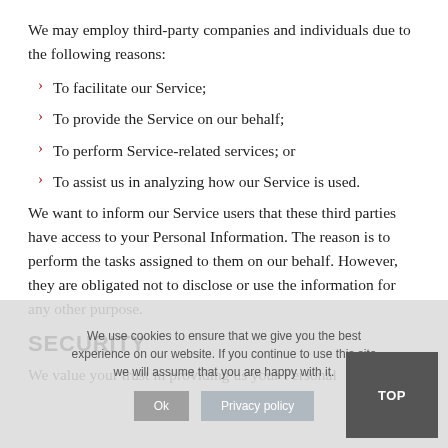We may employ third-party companies and individuals due to the following reasons:
To facilitate our Service;
To provide the Service on our behalf;
To perform Service-related services; or
To assist us in analyzing how our Service is used.
We want to inform our Service users that these third parties have access to your Personal Information. The reason is to perform the tasks assigned to them on our behalf. However, they are obligated not to disclose or use the information for any other purpose.
SECURITY
We value your trust in providing us your Personal